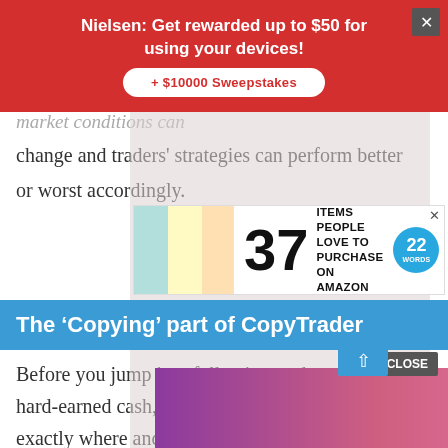[Figure (screenshot): Nielsen ad banner: red background with white bold text 'Nielsen: Get rewarded up to $50 for using your devices!' and a white pill button '+ $10000 Sweepstakes'. Gray X close button top right.]
market conditions can change and traders' strategies can perform better or worst accordingly.
[Figure (screenshot): Amazon listicle ad: '37 ITEMS PEOPLE LOVE TO PURCHASE ON AMAZON' with blue '22 WORDS' badge. X close button.]
The ‘Copying’ part of CopyTrader
Before you jump into following traders with your hard-earned cash, make sure you understand exactly where and how your money will be used. The minimum amount needed to copy a individual
[Figure (screenshot): MAC cosmetics ad with lipsticks and SHOP NOW button. CLOSE button overlay.]